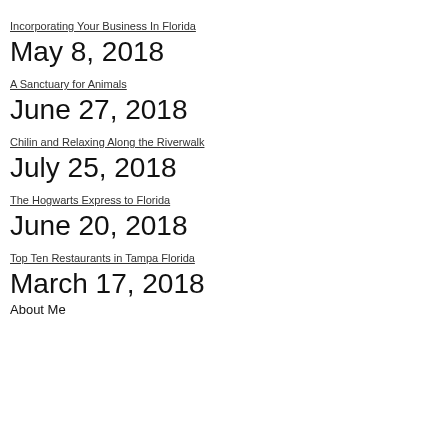Incorporating Your Business In Florida
May 8, 2018
A Sanctuary for Animals
June 27, 2018
Chilin and Relaxing Along the Riverwalk
July 25, 2018
The Hogwarts Express to Florida
June 20, 2018
Top Ten Restaurants in Tampa Florida
March 17, 2018
About Me